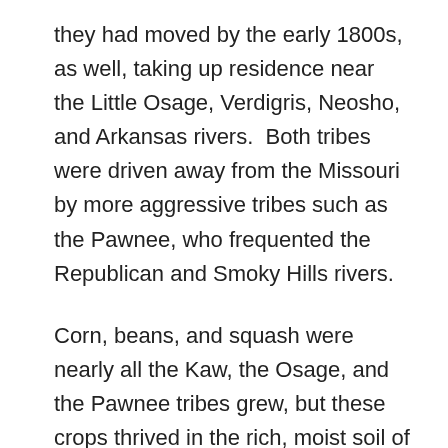they had moved by the early 1800s, as well, taking up residence near the Little Osage, Verdigris, Neosho, and Arkansas rivers.  Both tribes were driven away from the Missouri by more aggressive tribes such as the Pawnee, who frequented the Republican and Smoky Hills rivers.
Corn, beans, and squash were nearly all the Kaw, the Osage, and the Pawnee tribes grew, but these crops thrived in the rich, moist soil of the river floodplains where the Indians built their villages.  They were also easy to care for. The Indians could plant their crops in the